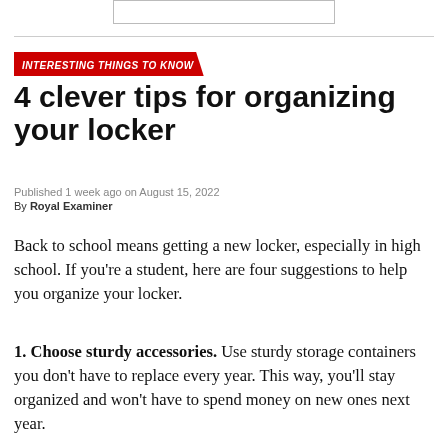INTERESTING THINGS TO KNOW
4 clever tips for organizing your locker
Published 1 week ago on August 15, 2022
By Royal Examiner
Back to school means getting a new locker, especially in high school. If you’re a student, here are four suggestions to help you organize your locker.
1. Choose sturdy accessories. Use sturdy storage containers you don’t have to replace every year. This way, you’ll stay organized and won’t have to spend money on new ones next year.